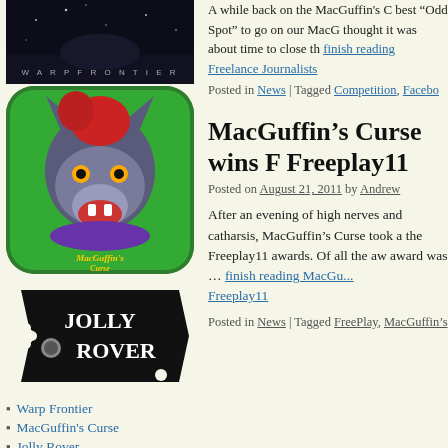[Figure (photo): Warp Frontier game image - dark sci-fi banner]
[Figure (photo): MacGuffin's Curse app icon - cartoon wolf on green background]
[Figure (photo): Jolly Rover logo - pirate flag style black and white logo]
Warp Frontier
MacGuffin's Curse
Jolly Rover
Avenue Flo
Emerald City Confidential
Nightshift Legacy - The Jaguar's Eye
A while back on the MacGuffin's C... best “Odd Spot” to go on our MacG... thought it was about time to close th...
finish reading Freelance Journalists
Posted in News | Tagged Competition, Facebo...
MacGuffin’s Curse wins F Freeplay11
Posted on August 21, 2011 by Andrew
After an evening of high nerves and catharsis, MacGuffin’s Curse took a the Freeplay11 awards. Of all the aw award was … finish reading MacGu... Freeplay11
Posted in News | Tagged FreePlay, MacGuffin's